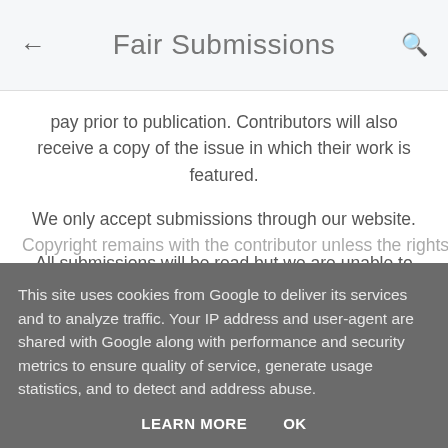Fair Submissions
pay prior to publication. Contributors will also receive a copy of the issue in which their work is featured.
We only accept submissions through our website.
All submissions will be read but we are unable to offer individual feedback. We aim to provide a response within six weeks of the closing date.
This site uses cookies from Google to deliver its services and to analyze traffic. Your IP address and user-agent are shared with Google along with performance and security metrics to ensure quality of service, generate usage statistics, and to detect and address abuse.
LEARN MORE   OK